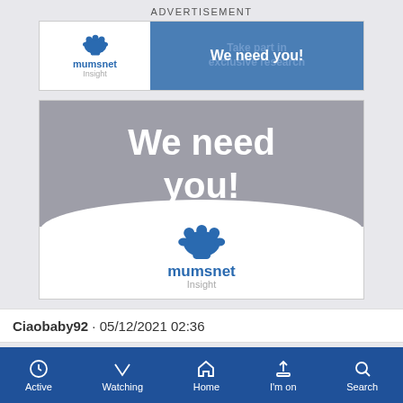ADVERTISEMENT
[Figure (screenshot): Mumsnet Insight banner ad showing 'We need you!' text on blue background with Mumsnet Insight logo on white left panel]
[Figure (screenshot): Large Mumsnet Insight ad with 'We need you!' text in white on gray background, with Mumsnet Insight logo on white curved bottom section]
Ciaobaby92 · 05/12/2021 02:36
Active  Watching  Home  I'm on  Search